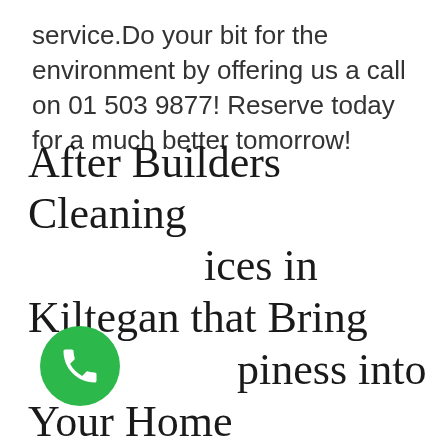service.Do your bit for the environment by offering us a call on 01 503 9877! Reserve today for a much better tomorrow!
After Builders Cleaning Services in Kiltegan that Bring Happiness into Your Home